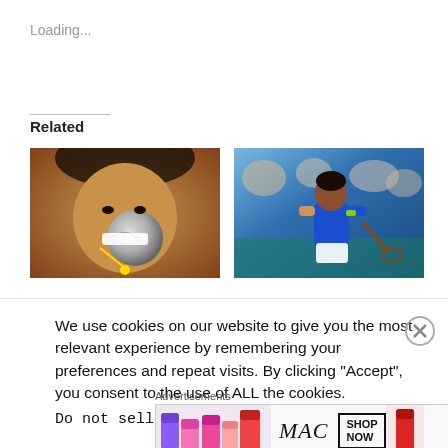Loading...
Related
[Figure (photo): Close-up photo of a person with curly hair biting or kissing a trophy, with a red/dark background]
[Figure (photo): Tennis player in blue shirt holding a racket on a tennis court with crowd in background]
We use cookies on our website to give you the most relevant experience by remembering your preferences and repeat visits. By clicking “Accept”, you consent to the use of ALL the cookies.
Do not sell my personal information
Advertisements
[Figure (photo): MAC cosmetics advertisement banner showing lipsticks with SHOP NOW button]